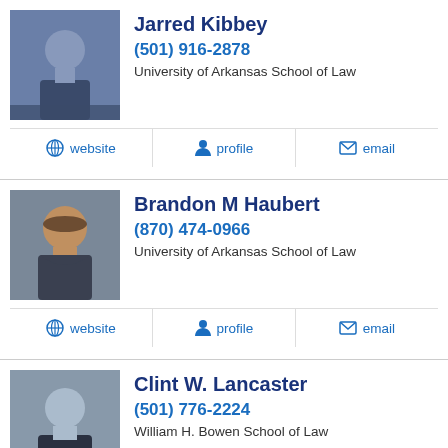Jarred Kibbey
(501) 916-2878
University of Arkansas School of Law
website | profile | email
Brandon M Haubert
(870) 474-0966
University of Arkansas School of Law
website | profile | email
Clint W. Lancaster
(501) 776-2224
William H. Bowen School of Law
website | profile | email